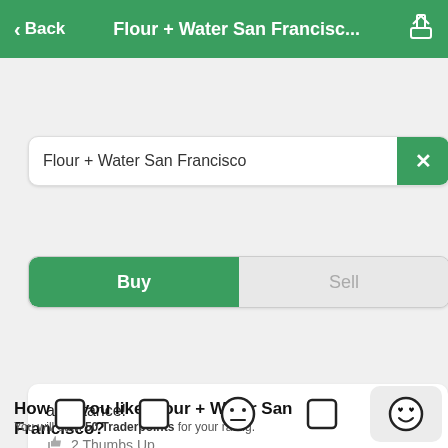< Back  Flour + Water San Francisc...
Flour + Water San Francisco
Buy | Sell
assistance!
2 Thumbs Up
0 Replys, 0 comments
Made our trip to NYC
How do you like Flour + Water San Francisco?
You will earn 50 Traderpoints for your rating.
[Figure (other): Rating emoji buttons row with 5 emoji face icons, last one highlighted with heart eyes on a grey background]